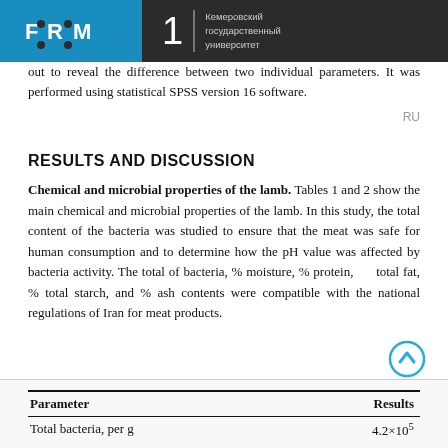FRM | Кемеровский государственный университет
out to reveal the difference between two individual parameters. It was performed using statistical SPSS version 16 software.
RU
RESULTS AND DISCUSSION
Chemical and microbial properties of the lamb. Tables 1 and 2 show the main chemical and microbial properties of the lamb. In this study, the total content of the bacteria was studied to ensure that the meat was safe for human consumption and to determine how the pH value was affected by bacteria activity. The total of bacteria, % moisture, % protein, % total fat, % total starch, and % ash contents were compatible with the national regulations of Iran for meat products.
| Parameter | Results |
| --- | --- |
| Total bacteria, per g | 4.2×10⁵ |